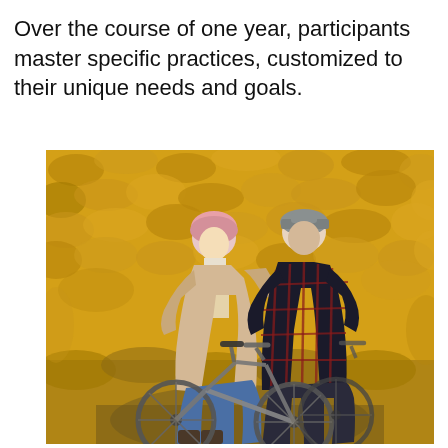Over the course of one year, participants master specific practices, customized to their unique needs and goals.
[Figure (photo): Two people riding bicycles on an autumn path surrounded by fallen golden-yellow leaves. A woman in a pink beanie hat and beige coat rides alongside a man in a grey cap and red plaid jacket.]